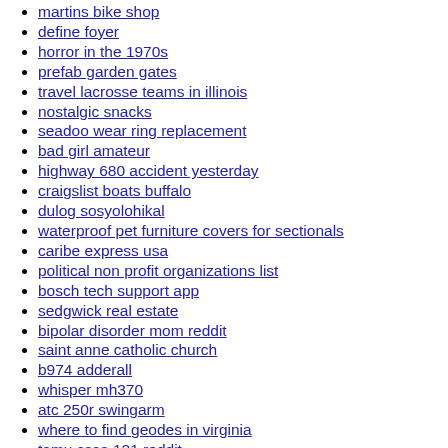martins bike shop
define foyer
horror in the 1970s
prefab garden gates
travel lacrosse teams in illinois
nostalgic snacks
seadoo wear ring replacement
bad girl amateur
highway 680 accident yesterday
craigslist boats buffalo
dulog sosyolohikal
waterproof pet furniture covers for sectionals
caribe express usa
political non profit organizations list
bosch tech support app
sedgwick real estate
bipolar disorder mom reddit
saint anne catholic church
b974 adderall
whisper mh370
atc 250r swingarm
where to find geodes in virginia
tamu csce 121 reddit
p0500 subaru legacy
path of the giant 5e